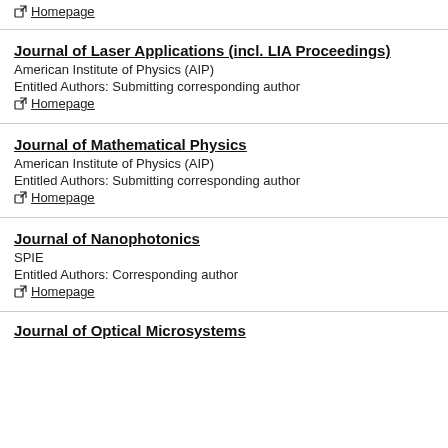Homepage (top, truncated)
Journal of Laser Applications (incl. LIA Proceedings)
American Institute of Physics (AIP)
Entitled Authors: Submitting corresponding author
Homepage
Journal of Mathematical Physics
American Institute of Physics (AIP)
Entitled Authors: Submitting corresponding author
Homepage
Journal of Nanophotonics
SPIE
Entitled Authors: Corresponding author
Homepage
Journal of Optical Microsystems